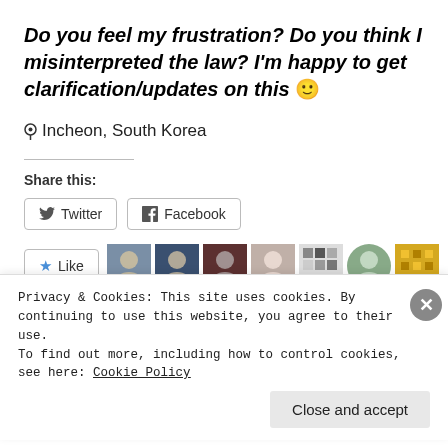Do you feel my frustration? Do you think I misinterpreted the law? I'm happy to get clarification/updates on this 🙂
📍 Incheon, South Korea
Share this:
Twitter  Facebook
[Figure (screenshot): Like button with star icon, followed by user avatar images]
Privacy & Cookies: This site uses cookies. By continuing to use this website, you agree to their use.
To find out more, including how to control cookies, see here: Cookie Policy